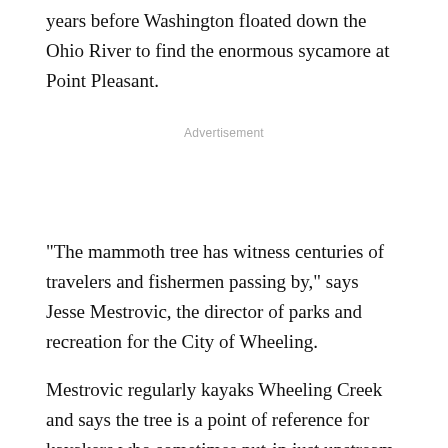years before Washington floated down the Ohio River to find the enormous sycamore at Point Pleasant.
Advertisement
"The mammoth tree has witness centuries of travelers and fishermen passing by," says Jesse Mestrovic, the director of parks and recreation for the City of Wheeling.
Mestrovic regularly kayaks Wheeling Creek and says the tree is a point of reference for kayakers who sometimes put-in just upstream near the Dunkard Fork Wildlife Management Area. During high water, usually in spring, the creek may be paddled from there to its mouth in Wheeling.
Mestrovic says kayak rentals and shuttles are now offered by South Paw Outfitters in Elm Grove, and the W.Va. Division